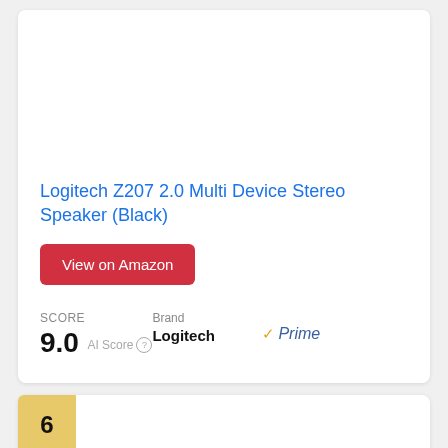Logitech Z207 2.0 Multi Device Stereo Speaker (Black)
View on Amazon
SCORE
9.0 AI Score
Brand
Logitech
Prime
6